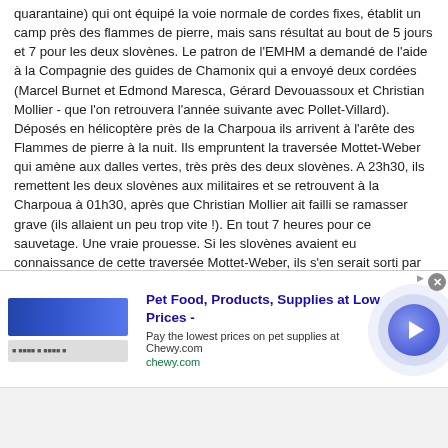quarantaine) qui ont équipé la voie normale de cordes fixes, établit un camp près des flammes de pierre, mais sans résultat au bout de 5 jours et 7 pour les deux slovènes. Le patron de l'EMHM a demandé de l'aide à la Compagnie des guides de Chamonix qui a envoyé deux cordées (Marcel Burnet et Edmond Maresca, Gérard Devouassoux et Christian Mollier - que l'on retrouvera l'année suivante avec Pollet-Villard). Déposés en hélicoptère près de la Charpoua ils arrivent à l'arête des Flammes de pierre à la nuit. Ils empruntent la traversée Mottet-Weber qui amène aux dalles vertes, très près des deux slovènes. A 23h30, ils remettent les deux slovènes aux militaires et se retrouvent à la Charpoua à 01h30, après que Christian Mollier ait failli se ramasser grave (ils allaient un peu trop vite !). En tout 7 heures pour ce sauvetage. Une vraie prouesse. Si les slovènes avaient eu connaissance de cette traversée Mottet-Weber, ils s'en serait sorti par eux-mêmes, mais ce n'était pas le cas. C'est (enfin c'était vu la disparition totale de la voie) la seule échappée possible du pilier. Une autre histoire, un autre petit épisode, comme le dirait mon ami Gilles Rodin, mais pas mal tout de
[Figure (other): Advertisement banner for Chewy.com: Pet Food, Products, Supplies at Low Prices. Includes Chewy logo, ad text, and a circular play/arrow button.]